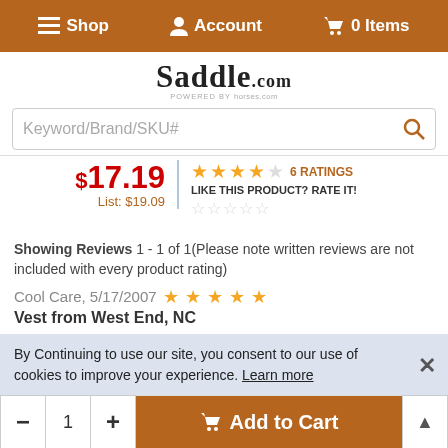Shop  Account  0 Items
[Figure (logo): Saddle.com logo with 'POWERED BY' text below]
Keyword/Brand/SKU# (search bar)
$17.19  List: $19.09  ★★★★☆ 6 RATINGS  LIKE THIS PRODUCT? RATE IT!
Showing Reviews 1 - 1 of 1(Please note written reviews are not included with every product rating)
Cool Care, 5/17/2007 ★★★★★
Vest from West End, NC
THANKS for this better product! This can has much more pressure, making spraying a quick,
By Continuing to use our site, you consent to our use of cookies to improve your experience. Learn more
- 1 +  Add to Cart  ▲